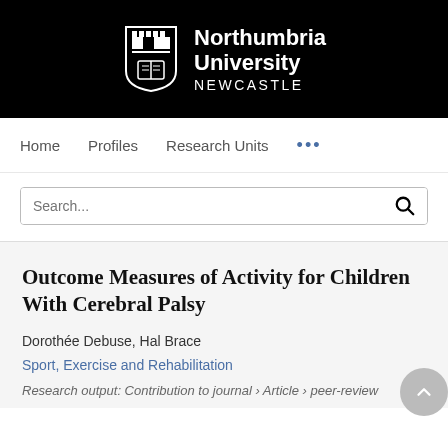[Figure (logo): Northumbria University Newcastle logo on black background with shield crest]
Home   Profiles   Research Units   ...
Search...
Outcome Measures of Activity for Children With Cerebral Palsy
Dorothée Debuse, Hal Brace
Sport, Exercise and Rehabilitation
Research output: Contribution to journal › Article › peer-review